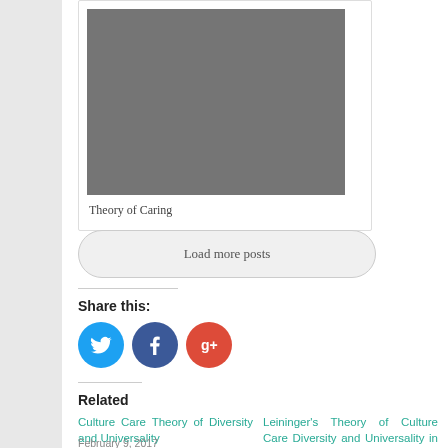[Figure (photo): Gray placeholder image for Theory of Caring post thumbnail]
Theory of Caring
Load more posts
Share this:
[Figure (other): Social media share icons: Twitter (blue), Facebook (dark blue), Google+ (red)]
Related
Culture Care Theory of Diversity and Universality
Leininger's Theory of Culture Care Diversity and Universality in Nursing
February 9, 2017